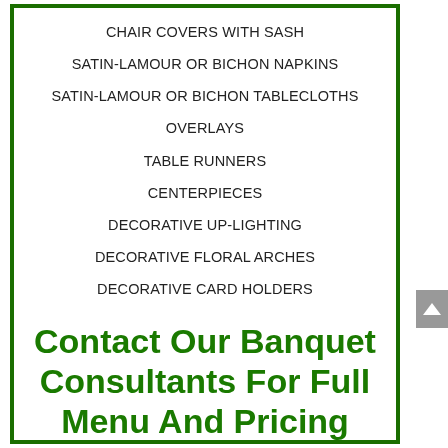CHAIR COVERS WITH SASH
SATIN-LAMOUR OR BICHON NAPKINS
SATIN-LAMOUR OR BICHON TABLECLOTHS
OVERLAYS
TABLE RUNNERS
CENTERPIECES
DECORATIVE UP-LIGHTING
DECORATIVE FLORAL ARCHES
DECORATIVE CARD HOLDERS
Contact Our Banquet Consultants For Full Menu And Pricing